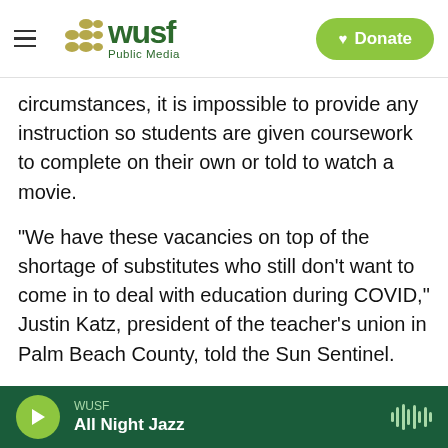[Figure (logo): WUSF Public Media logo with hamburger menu and green Donate button]
circumstances, it is impossible to provide any instruction so students are given coursework to complete on their own or told to watch a movie.
"We have these vacancies on top of the shortage of substitutes who still don't want to come in to deal with education during COVID," Justin Katz, president of the teacher's union in Palm Beach County, told the Sun Sentinel.
Oregon's education officials are trying to lure new substitutes by dropping college degree requirements. New rules also waive fees for would-
WUSF  All Night Jazz